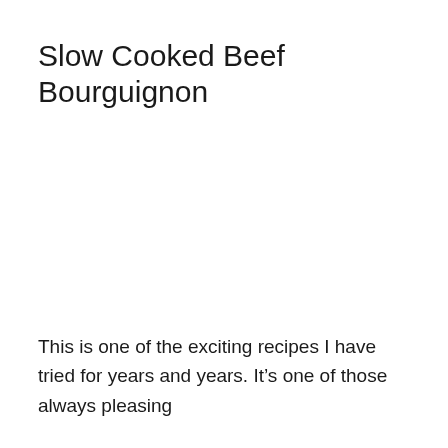Slow Cooked Beef Bourguignon
This is one of the exciting recipes I have tried for years and years. It’s one of those always pleasing